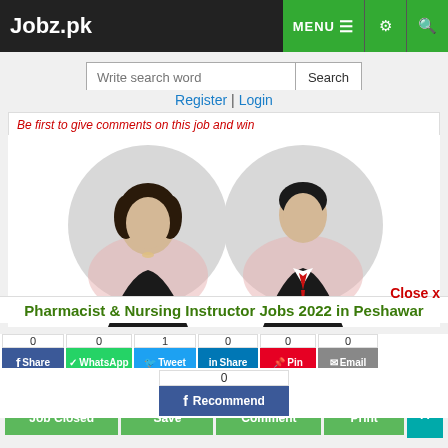Jobz.pk
Write search word | Search
Register | Login
Be first to give comments on this job and win
[Figure (illustration): Two avatar figures, a woman and a man in business attire, displayed in circular frames on a white background]
Close x
Pharmacist & Nursing Instructor Jobs 2022 in Peshawar
0 Share | 0 WhatsApp | 1 Tweet | 0 Share | 0 Pin | 0 Email
0 Recommend
Job Closed | Save | Comment | Print